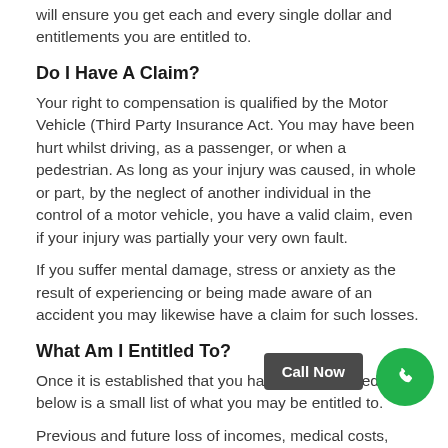will ensure you get each and every single dollar and entitlements you are entitled to.
Do I Have A Claim?
Your right to compensation is qualified by the Motor Vehicle (Third Party Insurance Act. You may have been hurt whilst driving, as a passenger, or when a pedestrian. As long as your injury was caused, in whole or part, by the neglect of another individual in the control of a motor vehicle, you have a valid claim, even if your injury was partially your very own fault.
If you suffer mental damage, stress or anxiety as the result of experiencing or being made aware of an accident you may likewise have a claim for such losses.
What Am I Entitled To?
Once it is established that you have a claim, listed below is a small list of what you may be entitled to.
Previous and future loss of incomes, medical costs,